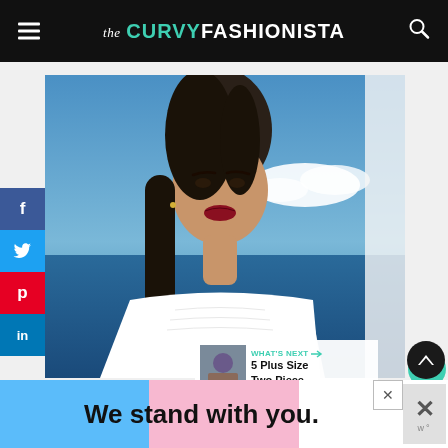the CURVY FASHIONISTA
[Figure (photo): A woman with dark hair wearing a white strapless top, posed against a blue sky and ocean background.]
[Figure (infographic): What's Next panel with thumbnail and text: 5 Plus Size Two Piece...]
[Figure (infographic): Bottom ad banner: We stand with you.]